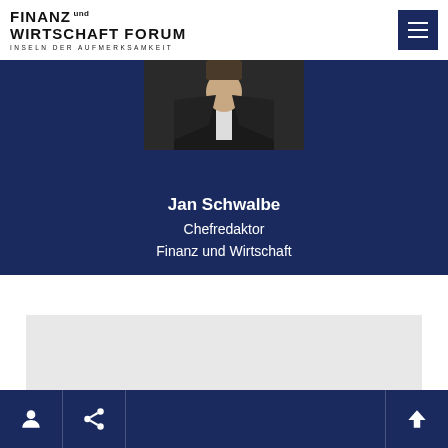[Figure (logo): Finanz und Wirtschaft Forum logo with tagline INSELN DER AUFMERKSAMKEIT and hamburger menu button]
[Figure (photo): Partial portrait photo of Jan Schwalbe over dark navy blue background]
Jan Schwalbe
Chefredaktor
Finanz und Wirtschaft
[Figure (other): Gray placeholder content box]
[Figure (other): Bottom navigation bar with user icon, share icon, and up arrow icon]